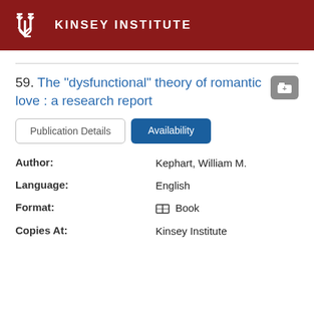KINSEY INSTITUTE
59. The "dysfunctional" theory of romantic love : a research report
Publication Details | Availability
Author: Kephart, William M.
Language: English
Format: Book
Copies At: Kinsey Institute